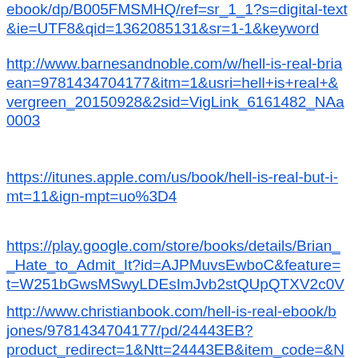ebook/dp/B005FMSMHQ/ref=sr_1_1?s=digital-text&ie=UTF8&qid=1362085131&sr=1-1&keyword
http://www.barnesandnoble.com/w/hell-is-real-brian ean=9781434704177&itm=1&usri=hell+is+real+& vergreen_20150928&2sid=VigLink_6161482_NAa 0003
https://itunes.apple.com/us/book/hell-is-real-but-i- mt=11&ign-mpt=uo%3D4
https://play.google.com/store/books/details/Brian_ _Hate_to_Admit_It?id=AJPMuvsEwboC&feature= t=W251bGwsMSwyLDEsImJvb2stQUpQTXV2c0V
http://www.christianbook.com/hell-is-real-ebook/b jones/9781434704177/pd/24443EB? product_redirect=1&Ntt=24443EB&item_code=&N